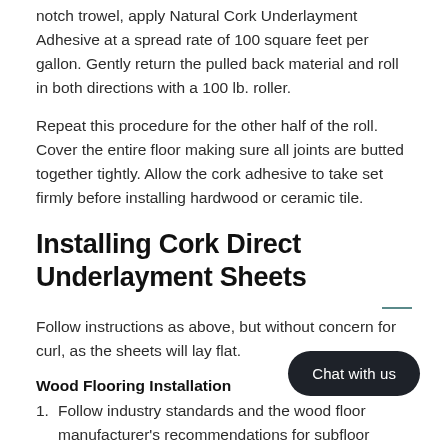notch trowel, apply Natural Cork Underlayment Adhesive at a spread rate of 100 square feet per gallon. Gently return the pulled back material and roll in both directions with a 100 lb. roller.
Repeat this procedure for the other half of the roll. Cover the entire floor making sure all joints are butted together tightly. Allow the cork adhesive to take set firmly before installing hardwood or ceramic tile.
Installing Cork Direct Underlayment Sheets
Follow instructions as above, but without concern for curl, as the sheets will lay flat.
Wood Flooring Installation
1. Follow industry standards and the wood floor manufacturer's recommendations for subfloor